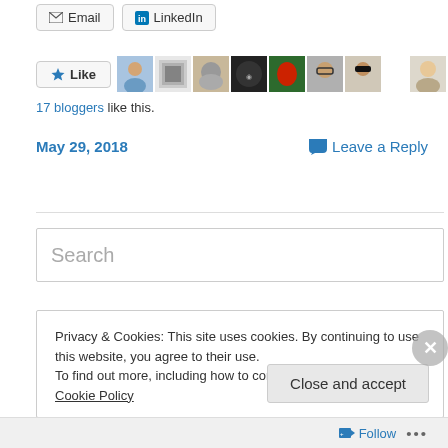[Figure (screenshot): Email and LinkedIn share buttons at top]
[Figure (screenshot): Like button with star icon and row of 11 avatar thumbnails of bloggers]
17 bloggers like this.
May 29, 2018
Leave a Reply
Search
Privacy & Cookies: This site uses cookies. By continuing to use this website, you agree to their use.
To find out more, including how to control cookies, see here: Cookie Policy
Close and accept
Follow